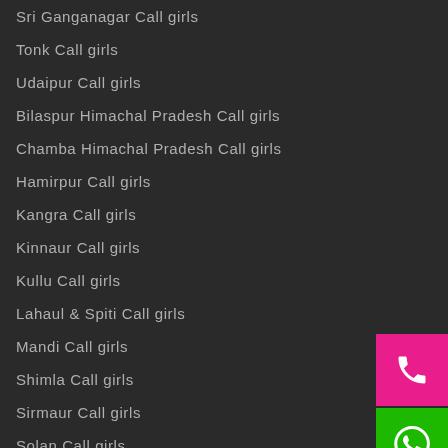Sri Ganganagar Call girls
Tonk Call girls
Udaipur Call girls
Bilaspur Himachal Pradesh Call girls
Chamba Himachal Pradesh Call girls
Hamirpur Call girls
Kangra Call girls
Kinnaur Call girls
Kullu Call girls
Lahaul & Spiti Call girls
Mandi Call girls
Shimla Call girls
Sirmaur Call girls
Solan Call girls
Vasant Vihar Call girls
[Figure (illustration): Pink phone call button icon]
[Figure (illustration): Green WhatsApp button icon]